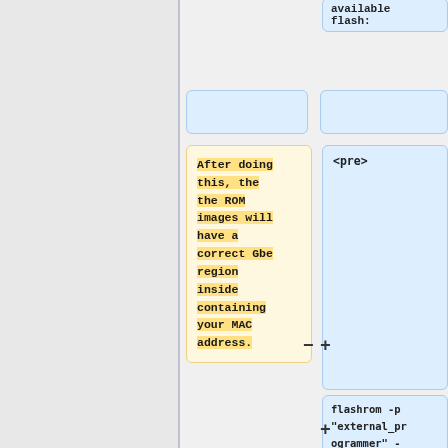available
flash:
<pre>
After doing this, the the ROM images will have a correct Gbe region inside containing your MAC address.
flashrom -p "external_programmer" -w coreboot.rom --ifd --
- (minus operator)
+ (plus operator)
+ (plus operator)